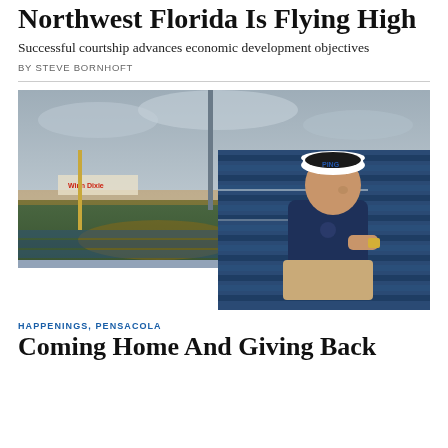Northwest Florida Is Flying High
Successful courtship advances economic development objectives
BY STEVE BORNHOFT
[Figure (photo): Man wearing a white PING visor and navy Oakley hoodie sitting in blue stadium bleachers at a baseball field, with overcast skies and a Winn-Dixie sign visible in the background.]
HAPPENINGS, PENSACOLA
Coming Home And Giving Back